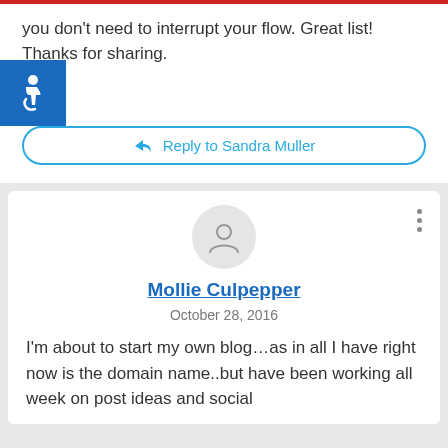you don't need to interrupt your flow. Great list! Thanks for sharing.
[Figure (logo): Blue accessibility wheelchair icon on blue square background]
Reply to Sandra Muller
[Figure (illustration): Generic user avatar circle icon in light gray]
Mollie Culpepper
October 28, 2016
I'm about to start my own blog…as in all I have right now is the domain name..but have been working all week on post ideas and social